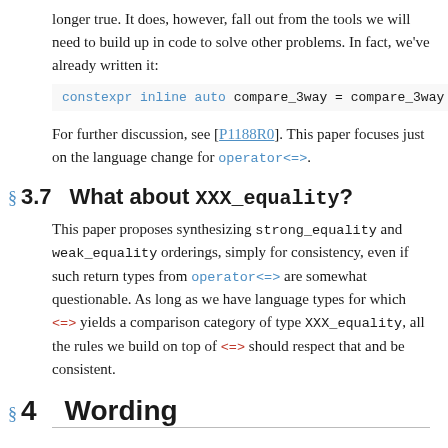longer true. It does, however, fall out from the tools we will need to build up in code to solve other problems. In fact, we've already written it:
For further discussion, see [P1188R0]. This paper focuses just on the language change for operator<=>.
3.7   What about XXX_equality?
This paper proposes synthesizing strong_equality and weak_equality orderings, simply for consistency, even if such return types from operator<=> are somewhat questionable. As long as we have language types for which <=> yields a comparison category of type XXX_equality, all the rules we build on top of <=> should respect that and be consistent.
4   Wording